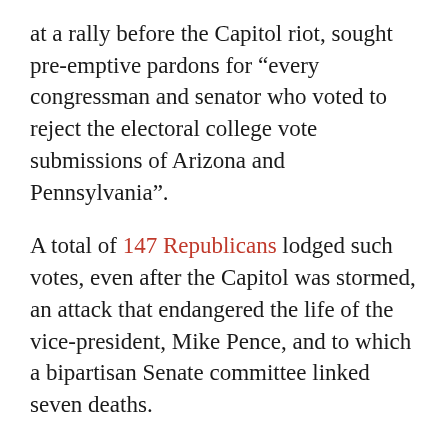at a rally before the Capitol riot, sought pre-emptive pardons for “every congressman and senator who voted to reject the electoral college vote submissions of Arizona and Pennsylvania”.
A total of 147 Republicans lodged such votes, even after the Capitol was stormed, an attack that endangered the life of the vice-president, Mike Pence, and to which a bipartisan Senate committee linked seven deaths.
Senators Ted Cruz and Josh Hawley, potential rivals to Trump for the Republican presidential nomination in 2024, were among them.
For the January 6 committee, the Illinois Republican Adam Kinzinger said Brooks